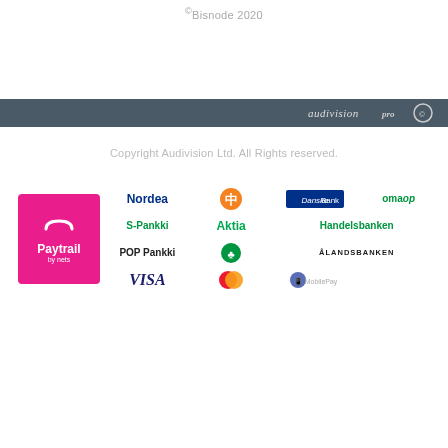©Bisnode 2020
[Figure (logo): Dark grey banner with audivision pro logo and circle icon on right side]
Copyright Audivision Ltd. All Rights Reserved.
[Figure (logo): Paytrail by nets logo (pink box with shopping bag icon) alongside multiple Finnish bank and payment logos: Nordea, OP (orange circle), Danske Bank, OmaOP, S-Pankki, Aktia, Handelsbanken, POP Pankki, tree logo, Alandsbanken, Visa, Mastercard, MobilePay]